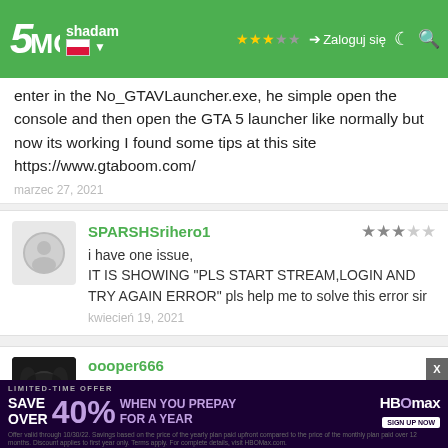5MODS | Zaloguj się | [navbar with Polish flag, stars, search]
enter in the No_GTAVLauncher.exe, he simple open the console and then open the GTA 5 launcher like normally but now its working I found some tips at this site https://www.gtaboom.com/
marzec 27, 2021
SPARSHSrihero1
i have one issue,
IT IS SHOWING "PLS START STREAM,LOGIN AND TRY AGAIN ERROR" pls help me to solve this error sir
kwiecień 19, 2021
oooper666
My game is epic version, I cant launch game and when I launch gta online with gta5 launcher and the game didn't launch and I launch without the launcher and he say "unrecoverable fault please restart the ga" plz
[Figure (infographic): HBO Max advertisement banner: SAVE OVER 40% WHEN YOU PREPAY FOR A YEAR. Purple/dark background with HBO Max logo and SIGN UP NOW button. Fine print about offer terms.]